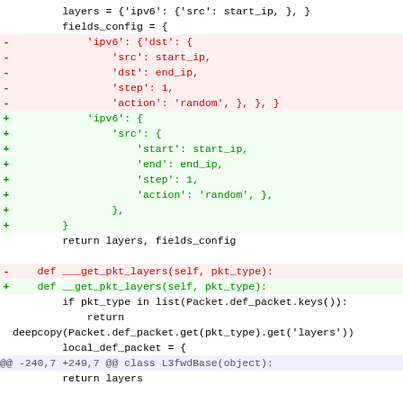Code diff showing changes to layers/fields_config assignment and __get_pkt_layers and __get_pkt_len method definitions in a Python file.